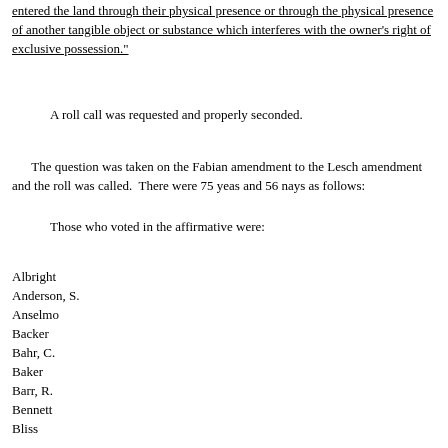entered the land through their physical presence or through the physical presence of another tangible object or substance which interferes with the owner's right of exclusive possession."
A roll call was requested and properly seconded.
The question was taken on the Fabian amendment to the Lesch amendment and the roll was called.  There were 75 yeas and 56 nays as follows:
Those who voted in the affirmative were:
Albright
Anderson, S.
Anselmo
Backer
Bahr, C.
Baker
Barr, R.
Bennett
Bliss
Christensen
Cornish
Daniels
Davids
Dean, M.
Dettmer
Drazkowski
Erickson
Fabian
Fenton
Franke